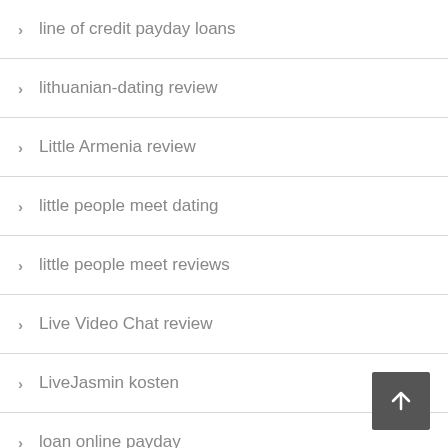line of credit payday loans
lithuanian-dating review
Little Armenia review
little people meet dating
little people meet reviews
Live Video Chat review
LiveJasmin kosten
loan online payday
loan payday online